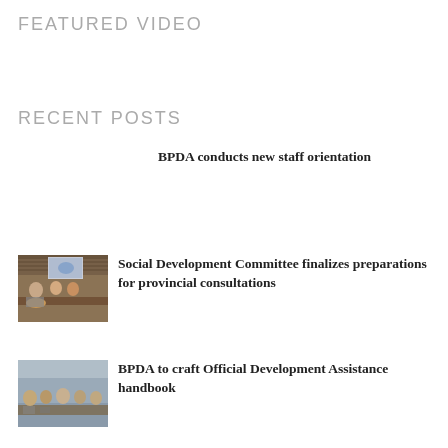FEATURED VIDEO
RECENT POSTS
BPDA conducts new staff orientation
[Figure (photo): Meeting room photo — people seated at tables with a presentation screen]
Social Development Committee finalizes preparations for provincial consultations
[Figure (photo): Conference room with people seated around tables]
BPDA to craft Official Development Assistance handbook